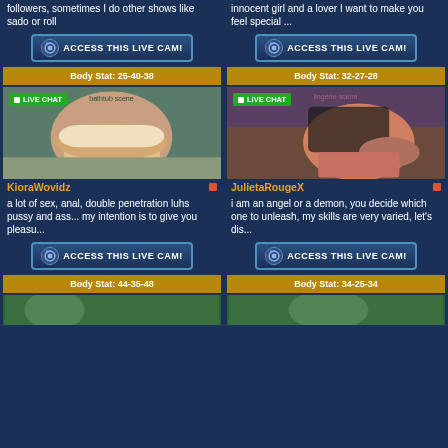followers, sometimes I do other shows like sado or roll
innocent girl and a lover I want to make you feel special ...
[Figure (other): ACCESS THIS LIVE CAM button left]
[Figure (other): ACCESS THIS LIVE CAM button right]
Body Stat: 25-40-38
Body Stat: 32-27-28
[Figure (photo): Woman in white bikini in bathtub, back view, with LIVE CHAT badge]
[Figure (photo): Woman with red hair in black lingerie on sofa, with LIVE CHAT badge]
KioraWovidz
JulietaRougeX
a lot of sex, anal, double penetration luhs pussy and ass... my intention is to give you pleasu...
i am an angel or a demon, you decide which one to unleash, my skills are very varied, let's dis...
[Figure (other): ACCESS THIS LIVE CAM button left]
[Figure (other): ACCESS THIS LIVE CAM button right]
Body Stat: 44-35-48
Body Stat: 34-25-34
[Figure (photo): Bottom partial photo left]
[Figure (photo): Bottom partial photo right]